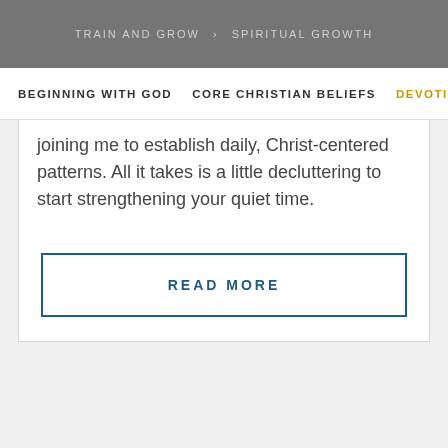TRAIN AND GROW > SPIRITUAL GROWTH
BEGINNING WITH GOD   CORE CHRISTIAN BELIEFS   DEVOTIONA
joining me to establish daily, Christ-centered patterns. All it takes is a little decluttering to start strengthening your quiet time.
READ MORE